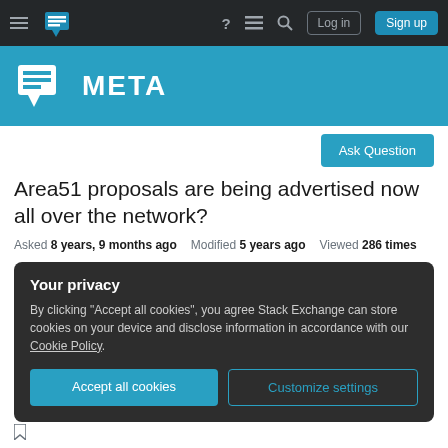Stack Exchange Meta — navigation bar with Log in and Sign up buttons
[Figure (logo): Stack Exchange Meta logo with icon and META text on blue background]
Ask Question
Area51 proposals are being advertised now all over the network?
Asked 8 years, 9 months ago   Modified 5 years ago   Viewed 286 times
Your privacy
By clicking "Accept all cookies", you agree Stack Exchange can store cookies on your device and disclose information in accordance with our Cookie Policy.
Accept all cookies   Customize settings